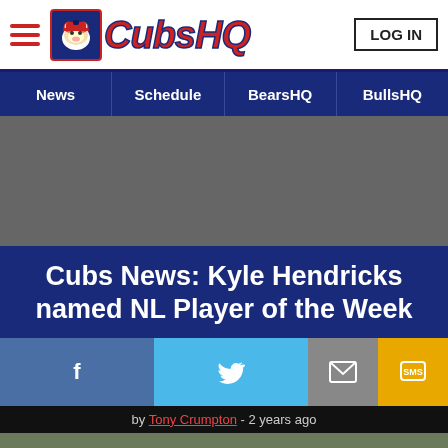CubsHQ | LOG IN
News | Schedule | BearsHQ | BullsHQ
[Figure (other): Gray advertisement placeholder banner]
Cubs News: Kyle Hendricks named NL Player of the Week
by Tony Crumpton - 2 years ago
[Figure (photo): Baseball players huddling on the field at Wrigley Field; players wearing Chicago Cubs uniforms]